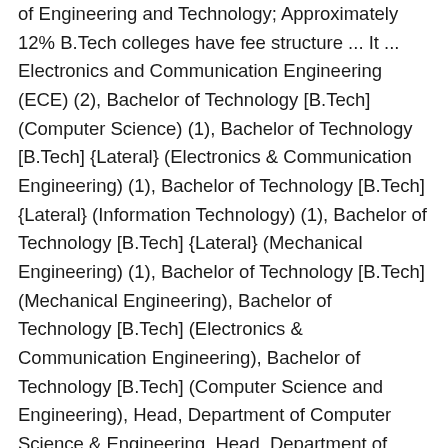of Engineering and Technology; Approximately 12% B.Tech colleges have fee structure ... It ... Electronics and Communication Engineering (ECE) (2), Bachelor of Technology [B.Tech] (Computer Science) (1), Bachelor of Technology [B.Tech] {Lateral} (Electronics & Communication Engineering) (1), Bachelor of Technology [B.Tech] {Lateral} (Information Technology) (1), Bachelor of Technology [B.Tech] {Lateral} (Mechanical Engineering) (1), Bachelor of Technology [B.Tech] (Mechanical Engineering), Bachelor of Technology [B.Tech] (Electronics & Communication Engineering), Bachelor of Technology [B.Tech] (Computer Science and Engineering), Head, Department of Computer Science & Engineering, Head, Department of Electronics & Communication Engineering, Head, Department of Mechanical Engineering, By submitting this form, you accept and agree to our, TS EAMCET 2020 Spot Admission Guidelines: Counselling to be conducted from November 19-23 ; check schedule here, JNTUH 2020: Second Semester Examination To Be Conducted In Computer Based Mode; Check Details Below, TS EAMCET Counselling 2020: Over 23,000